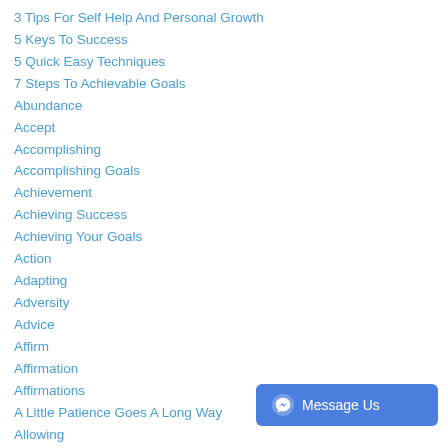3 Tips For Self Help And Personal Growth
5 Keys To Success
5 Quick Easy Techniques
7 Steps To Achievable Goals
Abundance
Accept
Accomplishing
Accomplishing Goals
Achievement
Achieving Success
Achieving Your Goals
Action
Adapting
Adversity
Advice
Affirm
Affirmation
Affirmations
A Little Patience Goes A Long Way
Allowing